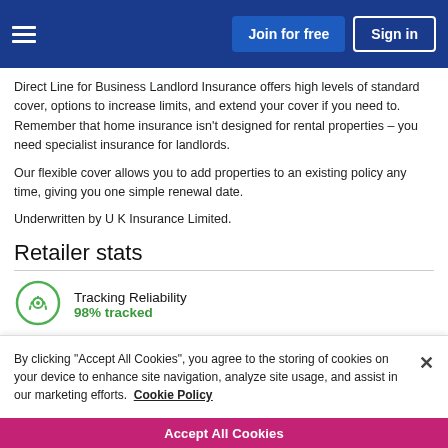Join for free | Sign in
Direct Line for Business Landlord Insurance offers high levels of standard cover, options to increase limits, and extend your cover if you need to. Remember that home insurance isn't designed for rental properties – you need specialist insurance for landlords.
Our flexible cover allows you to add properties to an existing policy any time, giving you one simple renewal date.
Underwritten by U K Insurance Limited.
Retailer stats
[Figure (infographic): Tracking Reliability icon — green circle with dotted arc pattern]
Tracking Reliability
98% tracked
By clicking "Accept All Cookies", you agree to the storing of cookies on your device to enhance site navigation, analyze site usage, and assist in our marketing efforts.  Cookie Policy
Accept All Cookies